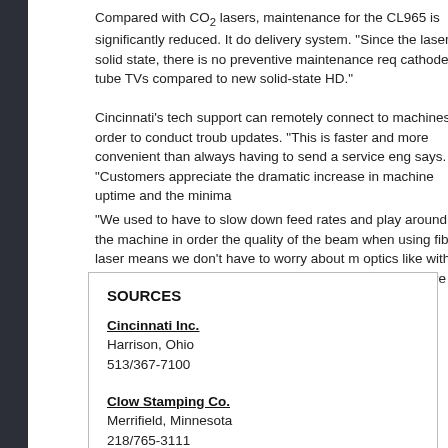Compared with CO2 lasers, maintenance for the CL965 is significantly reduced. It do delivery system. "Since the laser is solid state, there is no preventive maintenance req cathode tube TVs compared to new solid-state HD."
Cincinnati's tech support can remotely connect to machines in order to conduct troub updates. "This is faster and more convenient than always having to send a service eng says. "Customers appreciate the dramatic increase in machine uptime and the minima
"We used to have to slow down feed rates and play around with the machine in order the quality of the beam when using fiber laser means we don't have to worry about m optics like with a CO2 laser. It's just way more stable and our parts are more accurate
SOURCES
Cincinnati Inc.
Harrison, Ohio
513/367-7100
Clow Stamping Co.
Merrifield, Minnesota
218/765-3111